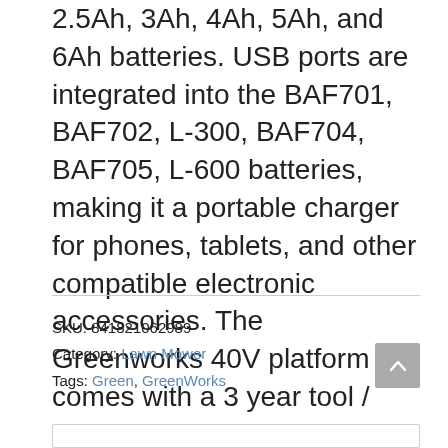2.5Ah, 3Ah, 4Ah, 5Ah, and 6Ah batteries. USB ports are integrated into the BAF701, BAF702, L-300, BAF704, BAF705, L-600 batteries, making it a portable charger for phones, tablets, and other compatible electronic accessories. The Greenworks 40V platform comes with a 3 year tool / battery warranty to protect your investment
SKU: 841821062989
Category: Lawn Mower
Tags: Green, GreenWorks